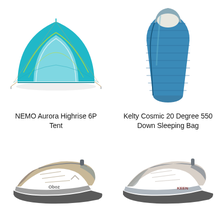[Figure (photo): NEMO Aurora Highrise 6P Tent - a blue dome camping tent viewed from the front, showing mesh interior and yellow guy lines, on white background]
NEMO Aurora Highrise 6P Tent
[Figure (photo): Kelty Cosmic 20 Degree 550 Down Sleeping Bag - a mummy-style sleeping bag in blue/teal color with grey accents, shown vertically on white background]
Kelty Cosmic 20 Degree 550 Down Sleeping Bag
[Figure (photo): Grey/tan hiking shoe with Oboz branding, low-cut trail shoe, side view cropped]
[Figure (photo): Light grey/cream hiking shoe with KEEN branding, low-cut trail shoe, side view cropped]